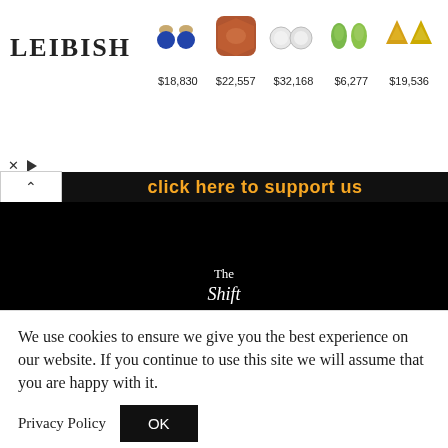[Figure (other): Leibish jewelry advertisement banner showing gemstone earrings and loose gems with prices: $18,830, $22,557, $32,168, $6,277, $19,536]
click here to support us
[Figure (logo): The Shift logo on black background video thumbnail]
[Figure (other): Black bar with partially visible white text]
We use cookies to ensure we give you the best experience on our website. If you continue to use this site we will assume that you are happy with it.
Privacy Policy
OK